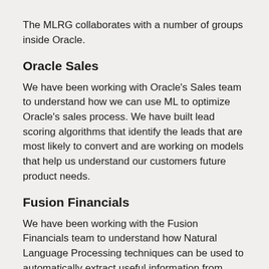The MLRG collaborates with a number of groups inside Oracle.
Oracle Sales
We have been working with Oracle's Sales team to understand how we can use ML to optimize Oracle's sales process. We have built lead scoring algorithms that identify the leads that are most likely to convert and are working on models that help us understand our customers future product needs.
Fusion Financials
We have been working with the Fusion Financials team to understand how Natural Language Processing techniques can be used to automatically extract useful information from invoices and receipts.
Oracle Digital Assistant